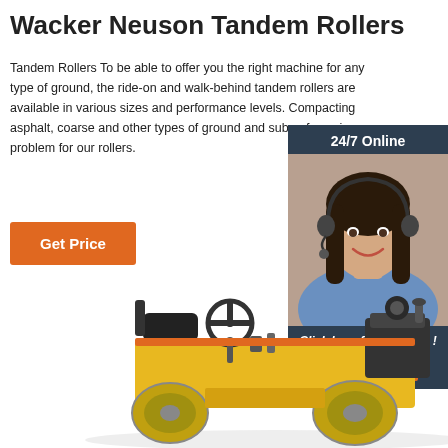Wacker Neuson Tandem Rollers
Tandem Rollers To be able to offer you the right machine for any type of ground, the ride-on and walk-behind tandem rollers are available in various sizes and performance levels. Compacting asphalt, coarse and other types of ground and subsurfaces is no problem for our rollers.
[Figure (photo): 24/7 online chat widget with woman wearing headset and buttons for free chat and quotation]
[Figure (photo): Wacker Neuson tandem roller machine, yellow, with seat and steering wheel, viewed from side]
Get Price
24/7 Online
Click here for free chat !
QUOTATION